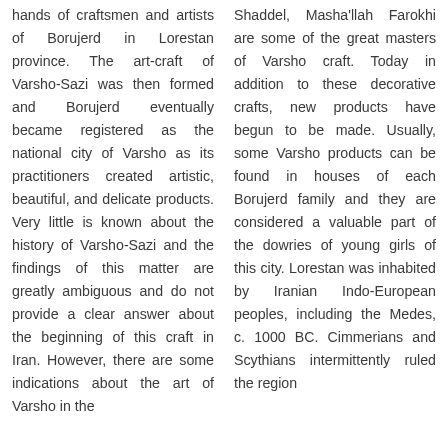hands of craftsmen and artists of Borujerd in Lorestan province. The art-craft of Varsho-Sazi was then formed and Borujerd eventually became registered as the national city of Varsho as its practitioners created artistic, beautiful, and delicate products. Very little is known about the history of Varsho-Sazi and the findings of this matter are greatly ambiguous and do not provide a clear answer about the beginning of this craft in Iran. However, there are some indications about the art of Varsho in the
Shaddel, Masha'llah Farokhi are some of the great masters of Varsho craft. Today in addition to these decorative crafts, new products have begun to be made. Usually, some Varsho products can be found in houses of each Borujerd family and they are considered a valuable part of the dowries of young girls of this city. Lorestan was inhabited by Iranian Indo-European peoples, including the Medes, c. 1000 BC. Cimmerians and Scythians intermittently ruled the region